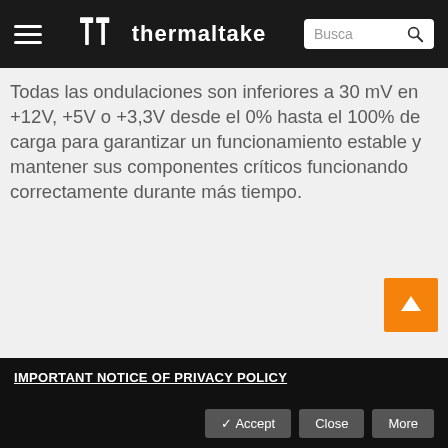thermaltake — Busca
Todas las ondulaciones son inferiores a 30 mV en +12V, +5V o +3,3V desde el 0% hasta el 100% de carga para garantizar un funcionamiento estable y mantener sus componentes críticos funcionando correctamente durante más tiempo.
[Figure (bar-chart): +12V Rail]
IMPORTANT NOTICE OF PRIVACY POLICY